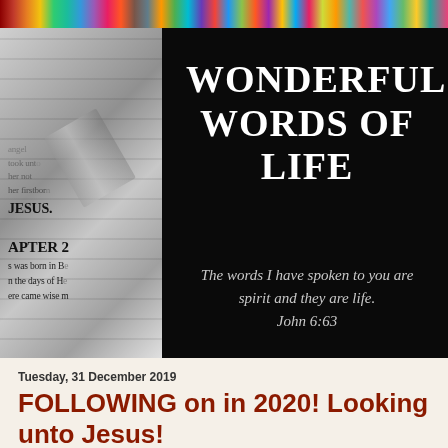[Figure (photo): Top banner strip showing colorful book spines on a shelf]
[Figure (photo): Left half: close-up grayscale photo of open Bible pages with text visible including 'JESUS', 'CHAPTER 2'. Right half: black panel with white serif text reading 'WONDERFUL WORDS OF LIFE' and italic quote 'The words I have spoken to you are spirit and they are life. John 6:63']
Tuesday, 31 December 2019
FOLLOWING on in 2020! Looking unto Jesus!